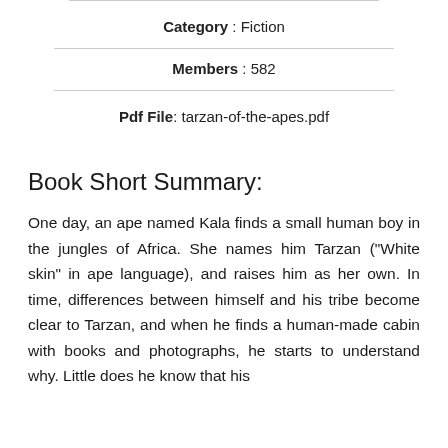Category : Fiction
Members : 582
Pdf File: tarzan-of-the-apes.pdf
Book Short Summary:
One day, an ape named Kala finds a small human boy in the jungles of Africa. She names him Tarzan ("White skin" in ape language), and raises him as her own. In time, differences between himself and his tribe become clear to Tarzan, and when he finds a human-made cabin with books and photographs, he starts to understand why. Little does he know that his